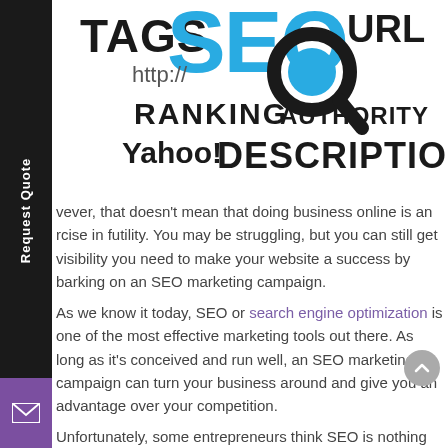[Figure (infographic): SEO infographic with text elements: TAGS, SEO (large blue letters), URL, http://, RANKING, AUTHORITY, Yahoo!, DESCRIPTION, with a magnifying glass icon]
vever, that doesn't mean that doing business online is an rcise in futility. You may be struggling, but you can still get visibility you need to make your website a success by barking on an SEO marketing campaign.
As we know it today, SEO or search engine optimization is one of the most effective marketing tools out there. As long as it's conceived and run well, an SEO marketing campaign can turn your business around and give you an advantage over your competition.
Unfortunately, some entrepreneurs think SEO is nothing more than a waste of time, money, and effort, their opinion undoubtedly fueled in part by stories of other businesses who